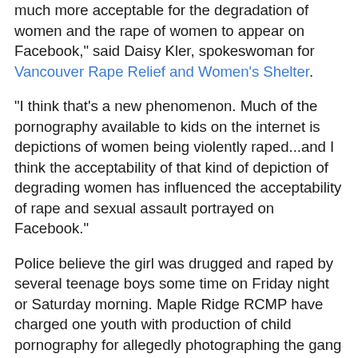much more acceptable for the degradation of women and the rape of women to appear on Facebook," said Daisy Kler, spokeswoman for Vancouver Rape Relief and Women's Shelter.
"I think that's a new phenomenon. Much of the pornography available to kids on the internet is depictions of women being violently raped...and I think the acceptability of that kind of depiction of degrading women has influenced the acceptability of rape and sexual assault portrayed on Facebook."
Police believe the girl was drugged and raped by several teenage boys some time on Friday night or Saturday morning. Maple Ridge RCMP have charged one youth with production of child pornography for allegedly photographing the gang rape and distributing the extremely graphic images. Police say those pictures made their way onto sites such as Facebook, and have also been distributed widely on Blackberrys and iPhones.